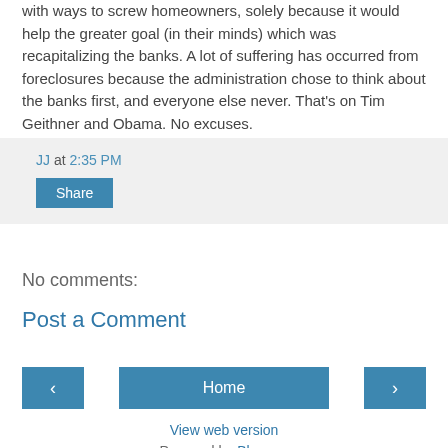with ways to screw homeowners, solely because it would help the greater goal (in their minds) which was recapitalizing the banks. A lot of suffering has occurred from foreclosures because the administration chose to think about the banks first, and everyone else never. That's on Tim Geithner and Obama. No excuses.
JJ at 2:35 PM
Share
No comments:
Post a Comment
‹
Home
›
View web version
Powered by Blogger.